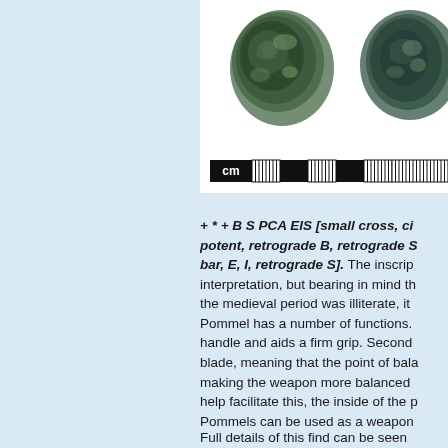[Figure (photo): Two bronze/green patinated medieval sword pommels photographed against white background, showing top view. An artifact scale bar with 'cm' label is shown below.]
+ * + B S PCA EIS [small cross, ci... potent, retrograde B, retrograde S... bar, E, I, retrograde S]. The inscri... interpretation, but bearing in mind th... the medieval period was illiterate, it... Pommel has a number of functions.... handle and aids a firm grip. Second... blade, meaning that the point of bala... making the weapon more balanced... help facilitate this, the inside of the p... Pommels can be used as a weapon... opponent, particularly around the he... where our modern term pummelling...
Full details of this find can be seen...